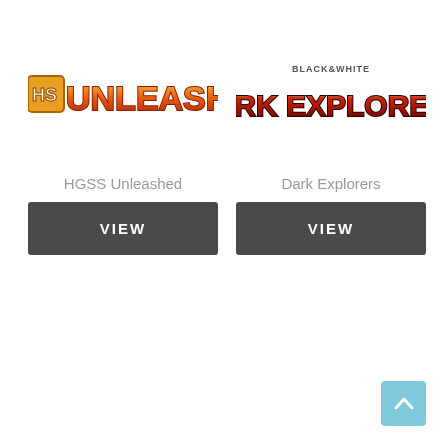[Figure (logo): HGSS Unleashed logo — orange/red stylized text reading HS UNLEASHED with a small HS badge]
[Figure (logo): Black & White Dark Explorers logo — dark red stylized text reading DARK EXPLORERS with BLACK & WHITE header]
HGSS Unleashed
Dark Explorers
VIEW
VIEW